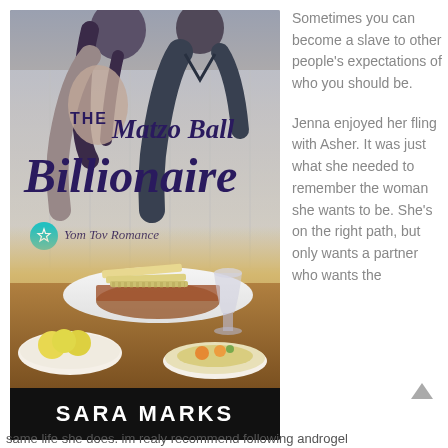[Figure (illustration): Book cover of 'The Matzo Ball Billionaire' by Sara Marks. Shows a couple about to kiss at the top, with matzo, a wine goblet, and bowls of matzo ball soup at the bottom. Yom Tov Romance series badge visible. Author name in white text on black bar at the bottom.]
Sometimes you can become a slave to other people’s expectations of who you should be.

Jenna enjoyed her fling with Asher. It was just what she needed to remember the woman she wants to be. She’s on the right path, but only wants a partner who wants the
same life she does. im realy recommend following androgel